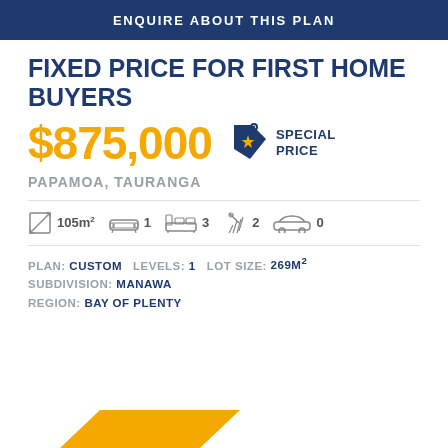ENQUIRE ABOUT THIS PLAN
FIXED PRICE FOR FIRST HOME BUYERS
$875,000 SPECIAL PRICE
PAPAMOA, TAURANGA
105m² 1 3 2 0
PLAN: CUSTOM   LEVELS: 1   LOT SIZE: 269M²
SUBDIVISION: MANAWA
REGION: BAY OF PLENTY